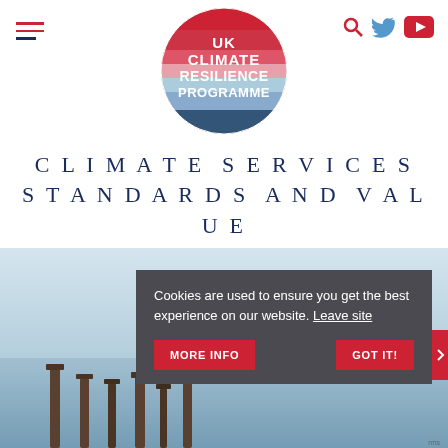Navigation bar with hamburger menu, UK Climate Resilience Programme logo, search, Twitter, and YouTube icons
[Figure (logo): UK Climate Resilience Programme circular logo with red, pink, and blue horizontal bands and white bold text reading UK CLIMATE RESILIENCE PROGRAMME]
CLIMATE SERVICES STANDARDS AND VALUE
[Figure (photo): Coastal scene with weathered wooden posts/pilings standing in calm water under a grey-blue sky]
Cookies are used to ensure you get the best experience on our website. Leave site
MORE INFO
GOT IT!